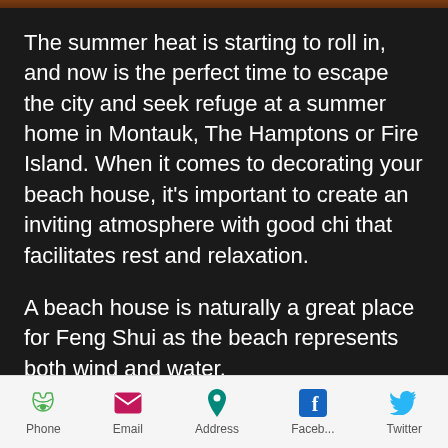[Figure (photo): Narrow strip of a reddish-brown background image at the top of the page]
The summer heat is starting to roll in, and now is the perfect time to escape the city and seek refuge at a summer home in Montauk, The Hamptons or Fire Island. When it comes to decorating your beach house, it's important to create an inviting atmosphere with good chi that facilitates rest and relaxation.
A beach house is naturally a great place for Feng Shui as the beach represents both wind and water.
Phone  Email  Address  Faceb...  Twitter